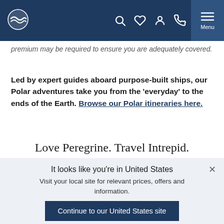Navigation bar with logo and icons
premium may be required to ensure you are adequately covered.
Led by expert guides aboard purpose-built ships, our Polar adventures take you from the ‘everyday’ to the ends of the Earth. Browse our Polar itineraries here.
Love Peregrine. Travel Intrepid.
It looks like you're in United States
Visit your local site for relevant prices, offers and information.
Continue to our United States site